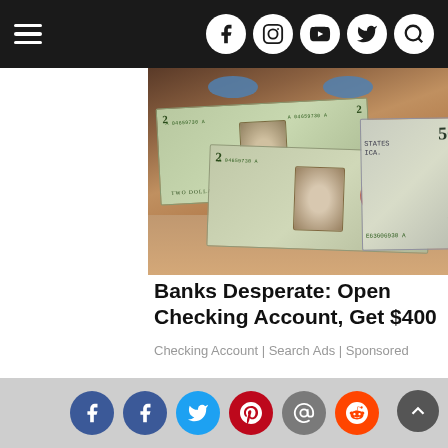Navigation bar with hamburger menu and social icons (Facebook, Instagram, YouTube, Twitter, Search)
[Figure (photo): Person holding US $2 bills up to their face, showing front and back of the currency notes with serial number A04659730A visible]
Banks Desperate: Open Checking Account, Get $400
Checking Account | Search Ads | Sponsored
[Figure (illustration): Illustrated hands pressing or massaging a dark bun/knot, with a yellow coin-like object]
Social share buttons: Facebook, Facebook, Twitter, Pinterest, Email, Reddit